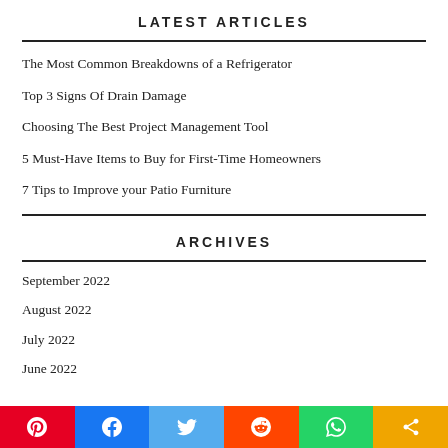LATEST ARTICLES
The Most Common Breakdowns of a Refrigerator
Top 3 Signs Of Drain Damage
Choosing The Best Project Management Tool
5 Must-Have Items to Buy for First-Time Homeowners
7 Tips to Improve your Patio Furniture
ARCHIVES
September 2022
August 2022
July 2022
June 2022